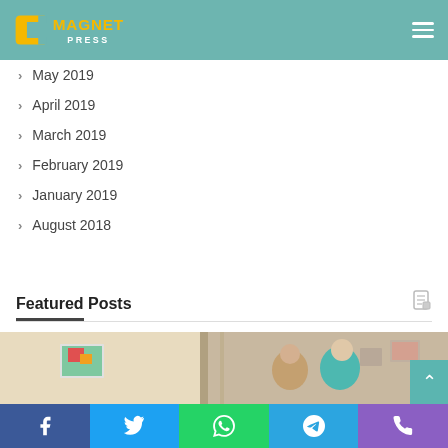Magnet Press
May 2019
April 2019
March 2019
February 2019
January 2019
August 2018
Featured Posts
[Figure (photo): Two older adults smiling and laughing together indoors, with framed artwork visible in the background]
Facebook | Twitter | WhatsApp | Telegram | Phone